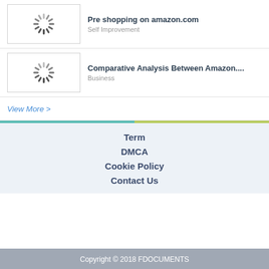[Figure (other): Loading spinner thumbnail for 'Pre shopping on amazon.com']
Pre shopping on amazon.com
Self Improvement
[Figure (other): Loading spinner thumbnail for 'Comparative Analysis Between Amazon....']
Comparative Analysis Between Amazon....
Business
View More >
Term
DMCA
Cookie Policy
Contact Us
Copyright © 2018 FDOCUMENTS